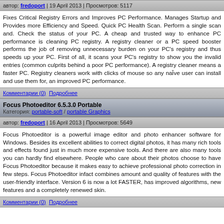автор: fredoport | 19 April 2013 | Просмотров: 5117
Fixes Critical Registry Errors and Improves PC Performance. Manages Startup and Provides more Efficiency and Speed. Quick PC Health Scan. Perform a single scan and. Check the status of your PC. A cheap and trusted way to enhance PC performance is cleaning PC registry. A registry cleaner or a PC speed booster performs the job of removing unnecessary burden on your PC's registry and thus speeds up your PC. First of all, it scans your PC's registry to show you the invalid entries (common culprits behind a poor PC performance). A registry cleaner means a faster PC. Registry cleaners work with clicks of mouse so any nai̋ve user can install and use them for, an improved PC performance.
Комментарии (0)  Подробнее
Focus Photoeditor 6.5.3.0 Portable
Категория: portable-soft / portable Graphics
автор: fredoport | 16 April 2013 | Просмотров: 5649
Focus Photoeditor is a powerful image editor and photo enhancer software for Windows. Besides its excellent abilities to correct digital photos, it has many rich tools and effects found just in much more expensive tools. And there are also many tools you can hardly find elsewhere. People who care about their photos choose to have Focus Photoeditor because it makes easy to achieve professional photo correction in few steps. Focus Photoeditor infact combines amount and quality of features with the user-friendly interface. Version 6 is now a lot FASTER, has improved algorithms, new features and a completely renewed skin.
Комментарии (0)  Подробнее